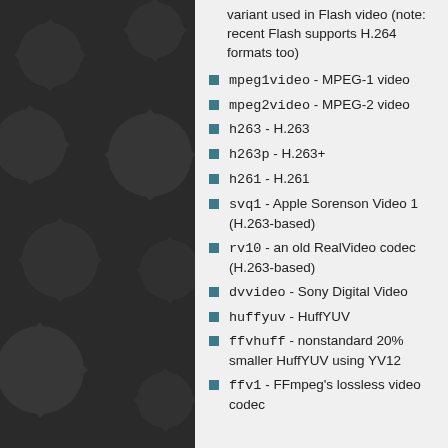[Figure (illustration): Dark background panel with repeating gear/cog pattern in dark grey tones]
variant used in Flash video (note: recent Flash supports H.264 formats too)
mpeg1video - MPEG-1 video
mpeg2video - MPEG-2 video
h263 - H.263
h263p - H.263+
h261 - H.261
svq1 - Apple Sorenson Video 1 (H.263-based)
rv10 - an old RealVideo codec (H.263-based)
dvvideo - Sony Digital Video
huffyuv - HuffYUV
ffvhuff - nonstandard 20% smaller HuffYUV using YV12
ffv1 - FFmpeg's lossless video codec